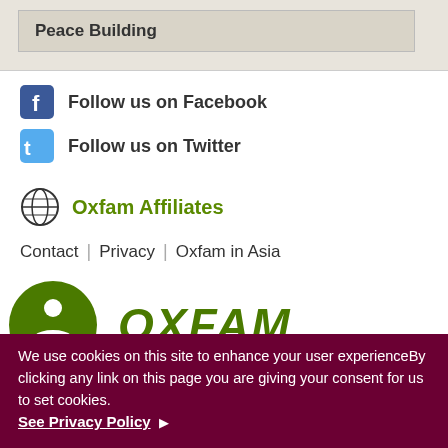Peace Building
Follow us on Facebook
Follow us on Twitter
Oxfam Affiliates
Contact | Privacy | Oxfam in Asia
[Figure (logo): Oxfam logo: green circle with person icon and OXFAM wordmark]
We use cookies on this site to enhance your user experienceBy clicking any link on this page you are giving your consent for us to set cookies. See Privacy Policy ▶